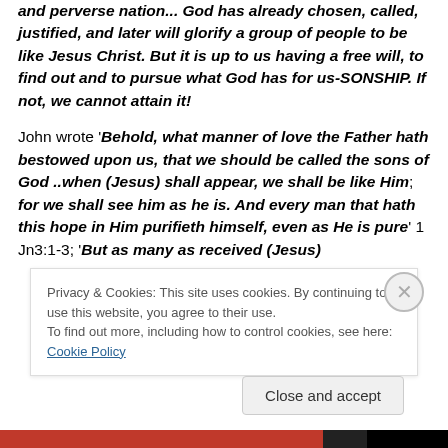and perverse nation... God has already chosen, called, justified, and later will glorify a group of people to be like Jesus Christ. But it is up to us having a free will, to find out and to pursue what God has for us-SONSHIP. If not, we cannot attain it!
John wrote 'Behold, what manner of love the Father hath bestowed upon us, that we should be called the sons of God ..when (Jesus) shall appear, we shall be like Him; for we shall see him as he is. And every man that hath this hope in Him purifieth himself, even as He is pure' 1 Jn3:1-3; 'But as many as received (Jesus)
Privacy & Cookies: This site uses cookies. By continuing to use this website, you agree to their use.
To find out more, including how to control cookies, see here: Cookie Policy
Close and accept